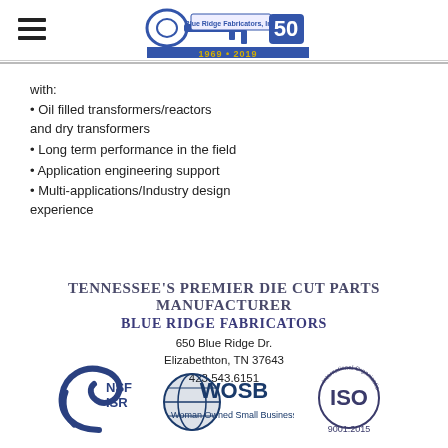[Figure (logo): Blue Ridge Fabricators 50th anniversary logo (1969-2019) with key graphic]
with:
• Oil filled transformers/reactors and dry transformers
• Long term performance in the field
• Application engineering support
• Multi-applications/Industry design experience
TENNESSEE'S PREMIER DIE CUT PARTS MANUFACTURER
BLUE RIDGE FABRICATORS
650 Blue Ridge Dr.
Elizabethton, TN 37643
423.543.6151
[Figure (logo): NSF ISR certification logo]
[Figure (logo): WOSB Woman Owned Small Business logo]
[Figure (logo): ISO 9001:2015 certification logo]